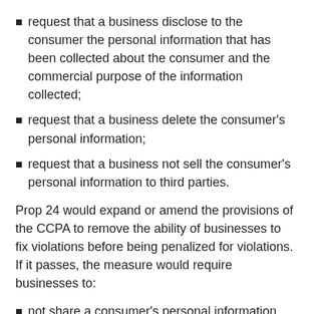request that a business disclose to the consumer the personal information that has been collected about the consumer and the commercial purpose of the information collected;
request that a business delete the consumer's personal information;
request that a business not sell the consumer's personal information to third parties.
Prop 24 would expand or amend the provisions of the CCPA to remove the ability of businesses to fix violations before being penalized for violations. If it passes, the measure would require businesses to:
not share a consumer's personal information upon the consumer's request;